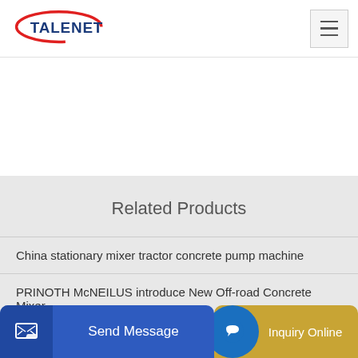[Figure (logo): TALENET logo with red ellipse and blue text]
Related Products
China stationary mixer tractor concrete pump machine
PRINOTH McNEILUS introduce New Off-road Concrete Mixer
[Figure (screenshot): Send Message button (blue) and Inquiry Online button (gold) at bottom of page]